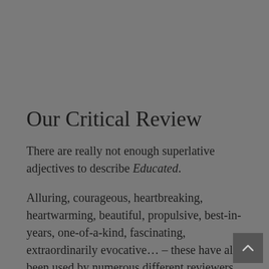Our Critical Review
There are really not enough superlative adjectives to describe Educated.
Alluring, courageous, heartbreaking, heartwarming, beautiful, propulsive, best-in-years, one-of-a-kind, fascinating, extraordinarily evocative… – these have all been used by numerous different reviewers.
And all justly.